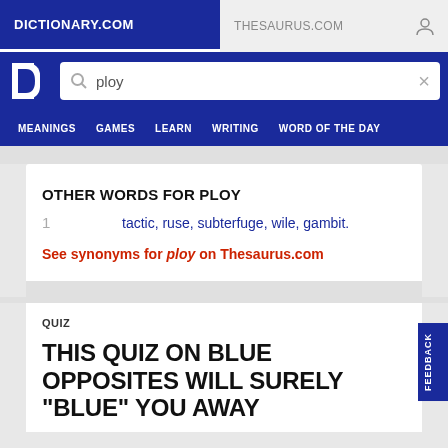DICTIONARY.COM | THESAURUS.COM
[Figure (screenshot): Dictionary.com logo 'D' in white on blue background]
Search: ploy
MEANINGS | GAMES | LEARN | WRITING | WORD OF THE DAY
OTHER WORDS FOR PLOY
1  tactic, ruse, subterfuge, wile, gambit.
See synonyms for ploy on Thesaurus.com
QUIZ
THIS QUIZ ON BLUE OPPOSITES WILL SURELY "BLUE" YOU AWAY